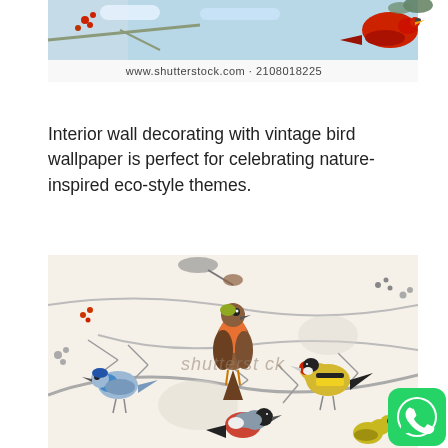[Figure (photo): Top portion of a vintage bird wallpaper image showing birds on branches with red berries against a blue-white background. Watermark text below reads: www.shutterstock.com · 2108018225]
Interior wall decorating with vintage bird wallpaper is perfect for celebrating nature-inspired eco-style themes.
[Figure (photo): Vintage watercolor bird wallpaper pattern on cream/beige background showing multiple colorful birds (blue tit, robin with orange breast, goldfinch with red head, bullfinch, and small yellow-green bird) perched on grey pine branches with red berries. Shutterstock watermark overlaid.]
[Figure (logo): WhatsApp icon button in bottom right corner - green rounded square with white phone handset icon]